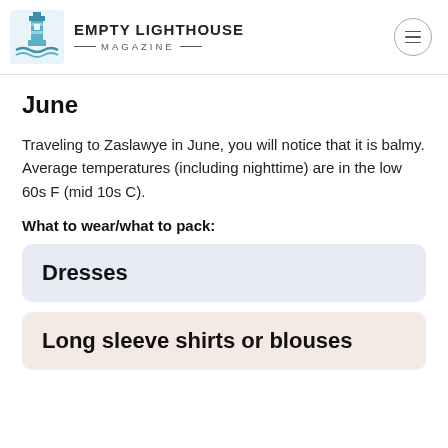EMPTY LIGHTHOUSE MAGAZINE
June
Traveling to Zaslawye in June, you will notice that it is balmy. Average temperatures (including nighttime) are in the low 60s F (mid 10s C).
What to wear/what to pack:
Dresses
Long sleeve shirts or blouses